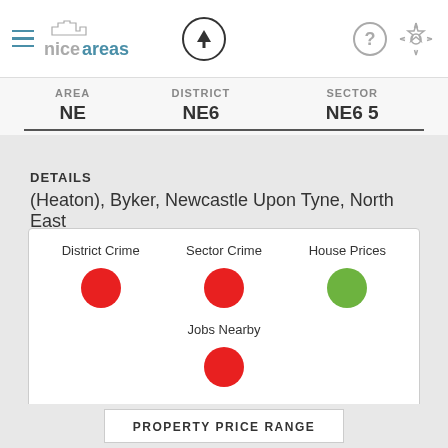niceareas
| AREA | DISTRICT | SECTOR |
| --- | --- | --- |
| NE | NE6 | NE6 5 |
DETAILS
(Heaton), Byker, Newcastle Upon Tyne, North East
[Figure (infographic): Three indicator dots in a box: District Crime (red dot), Sector Crime (red dot), House Prices (green dot), Jobs Nearby (red dot)]
TOP TYPE OF RESIDENT
Students and professionals
PROPERTY PRICE RANGE